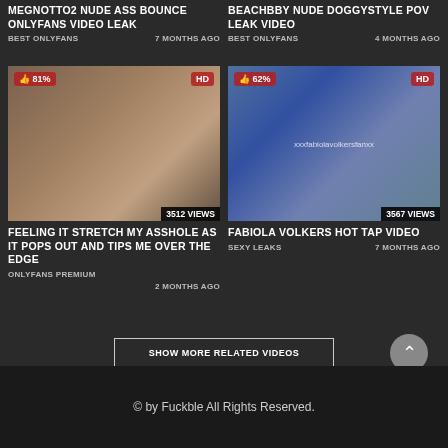MEGNOTTO2 NUDE ASS BOUNCE ONLYFANS VIDEO LEAK
BEST ONLYFANS   7 MONTHS AGO
BEACHBBY NUDE DOGGYSTYLE POV LEAK VIDEO
BEST ONLYFANS   4 MONTHS AGO
[Figure (screenshot): Video thumbnail with 81% like badge and HD badge, 3512 VIEWS overlay]
FEELING IT STRETCH MY ASSHOLE AS IT POPS OUT AND TIPS ME OVER THE EDGE
ONLYFANS PREMIUM   2 MONTHS AGO
[Figure (screenshot): Video thumbnail with 62% like badge, HD badge, xxxfabiolavolkersfanxx watermark, 3567 VIEWS overlay]
FABIOLA VOLKERS HOT TAP VIDEO
SEXY LEAKS   7 MONTHS AGO
SHOW MORE RELATED VIDEOS
© by Fuckble All Rights Reserved.